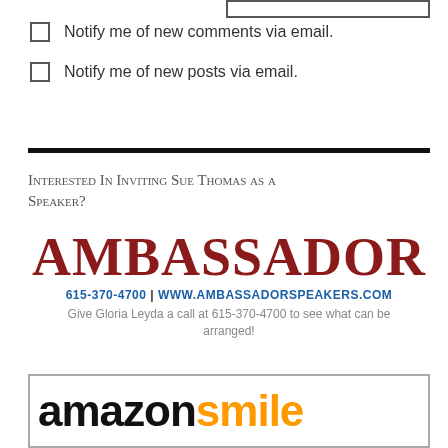Notify me of new comments via email.
Notify me of new posts via email.
Interested In Inviting Sue Thomas as a Speaker?
[Figure (logo): Ambassador Speakers Bureau logo with text: AMBASSADOR, 615-370-4700 | WWW.AMBASSADORSPEAKERS.COM, Give Gloria Leyda a call at 615-370-4700 to see what can be arranged!]
[Figure (logo): Amazon Smile logo showing 'amazon' in black and 'smile' in orange]